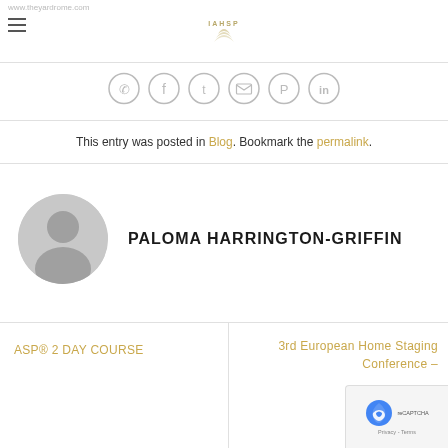www.theyardrome.com | IAHSP logo
[Figure (infographic): Social media sharing icons row: WhatsApp, Facebook, Twitter, Email, Pinterest, LinkedIn — all in light grey circular outlines]
This entry was posted in Blog. Bookmark the permalink.
[Figure (photo): Grey circular avatar placeholder icon with a user silhouette]
PALOMA HARRINGTON-GRIFFIN
ASP® 2 DAY COURSE
3rd European Home Staging Conference –